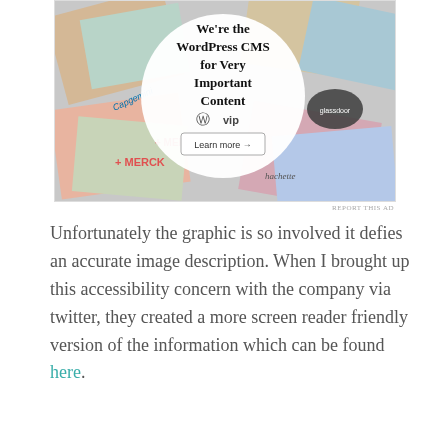[Figure (advertisement): WordPress VIP advertisement showing a circular white badge with text 'We're the WordPress CMS for Very Important Content' with WordPress VIP logo and 'Learn more →' button, surrounded by colorful overlapping brand logos including Merck, Hachette, and others on a collage background.]
REPORT THIS AD
Unfortunately the graphic is so involved it defies an accurate image description. When I brought up this accessibility concern with the company via twitter, they created a more screen reader friendly version of the information which can be found here.